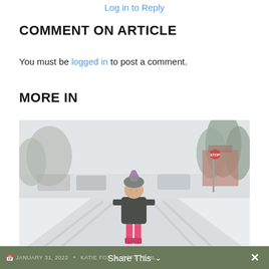Log in to Reply
COMMENT ON ARTICLE
You must be logged in to post a comment.
MORE IN
[Figure (photo): A child in a dark jacket, pink pants and boots wearing a hat stands in the middle of a snow-covered street. Snow-laden trees, parked cars, a stop sign, and a fire hydrant are visible in the background.]
JANUARY 31, 2022  KATIE FOX  SOFT TRAIL   Share This  ✕